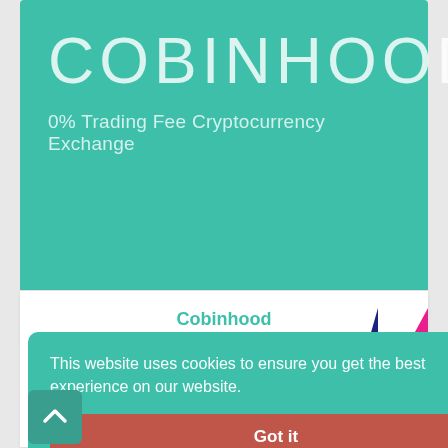[Figure (logo): Cobinhood logo on teal/green background with large white text COBINHOOD and tagline '0% Trading Fee Cryptocurrency Exchange']
Cobinhood
This website uses cookies to ensure you get the best experience on our website.
Got it